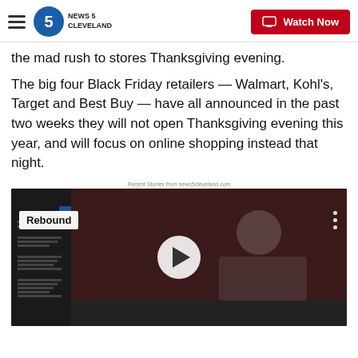News 5 Cleveland | Watch Now
the mad rush to stores Thanksgiving evening.
The big four Black Friday retailers — Walmart, Kohl's, Target and Best Buy — have all announced in the past two weeks they will not open Thanksgiving evening this year, and will focus on online shopping instead that night.
Recent Stories from news5cleveland.com
[Figure (screenshot): Video thumbnail showing a bald man in a dark polo shirt with a 'Rebound' badge overlay and a play button in the center]